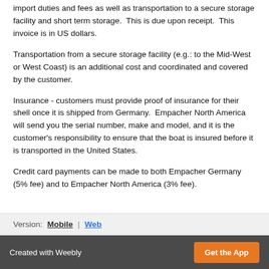import duties and fees as well as transportation to a secure storage facility and short term storage.  This is due upon receipt.  This invoice is in US dollars.
Transportation from a secure storage facility (e.g.: to the Mid-West or West Coast) is an additional cost and coordinated and covered by the customer.
Insurance - customers must provide proof of insurance for their shell once it is shipped from Germany.  Empacher North America will send you the serial number, make and model, and it is the customer's responsibility to ensure that the boat is insured before it is transported in the United States.
Credit card payments can be made to both Empacher Germany (5% fee) and to Empacher North America (3% fee).
Version:  Mobile  |  Web
Created with Weebly  Get the App